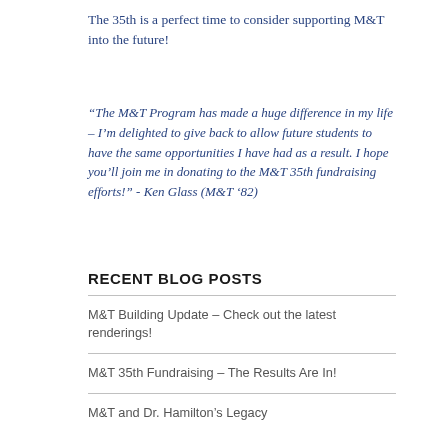The 35th is a perfect time to consider supporting M&T into the future!
“The M&T Program has made a huge difference in my life – I’m delighted to give back to allow future students to have the same opportunities I have had as a result. I hope you’ll join me in donating to the M&T 35th fundraising efforts!” - Ken Glass (M&T ’82)
RECENT BLOG POSTS
M&T Building Update – Check out the latest renderings!
M&T 35th Fundraising – The Results Are In!
M&T and Dr. Hamilton’s Legacy